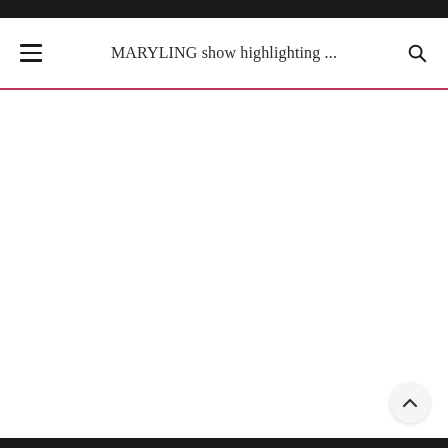MARYLING show highlighting ...
[Figure (screenshot): White content area below the navigation header, mostly blank/loading]